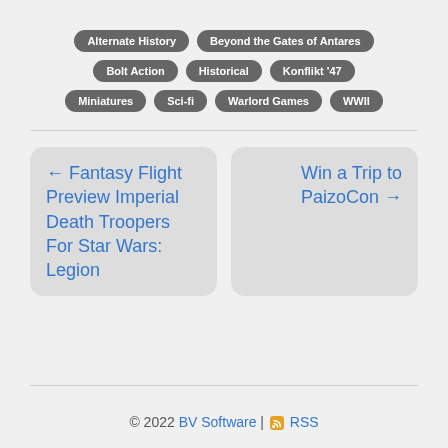Alternate History
Beyond the Gates of Antares
Bolt Action
Historical
Konflikt '47
Miniatures
Sci-fi
Warlord Games
WWII
← Fantasy Flight Preview Imperial Death Troopers For Star Wars: Legion
Win a Trip to PaizoCon →
© 2022 BV Software | RSS